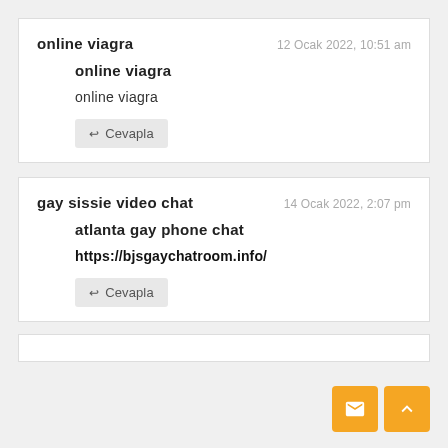online viagra — 12 Ocak 2022, 10:51 am
online viagra
online viagra
Cevapla
gay sissie video chat — 14 Ocak 2022, 2:07 pm
atlanta gay phone chat
https://bjsgaychatroom.info/
Cevapla